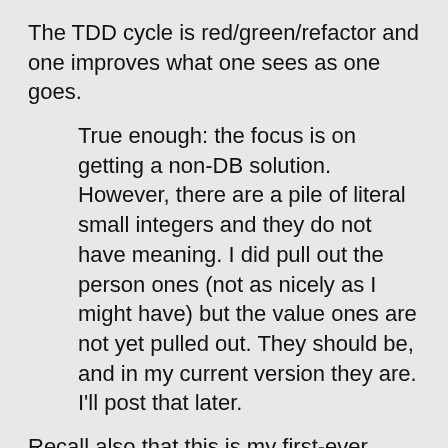The TDD cycle is red/green/refactor and one improves what one sees as one goes.
True enough: the focus is on getting a non-DB solution. However, there are a pile of literal small integers and they do not have meaning. I did pull out the person ones (not as nicely as I might have) but the value ones are not yet pulled out. They should be, and in my current version they are. I'll post that later.
Recall also that this is my first-ever published Python program. As I comment in the second article, I was doing things (like actually giving it a "try all" version)...